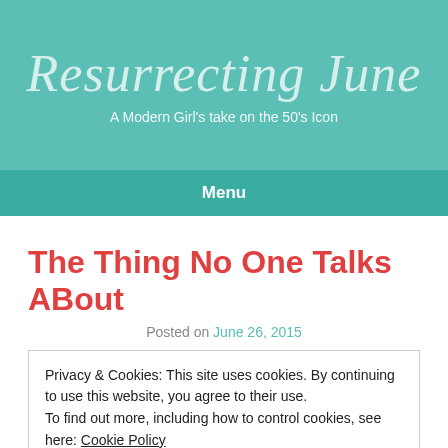Resurrecting June
A Modern Girl's take on the 50's Icon
Menu
The Thing No One Talks ABout
Posted on June 26, 2015
Privacy & Cookies: This site uses cookies. By continuing to use this website, you agree to their use.
To find out more, including how to control cookies, see here: Cookie Policy
Close and accept
it it from the next a little more about someone on...